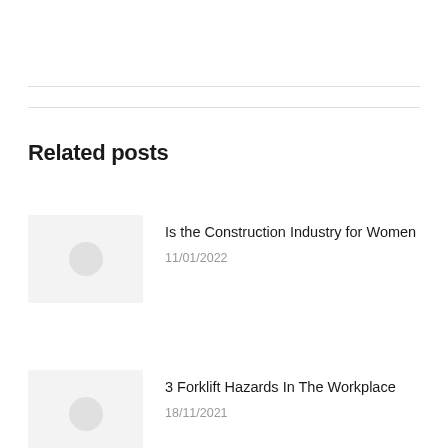Related posts
Is the Construction Industry for Women
11/01/2022
3 Forklift Hazards In The Workplace
18/11/2021